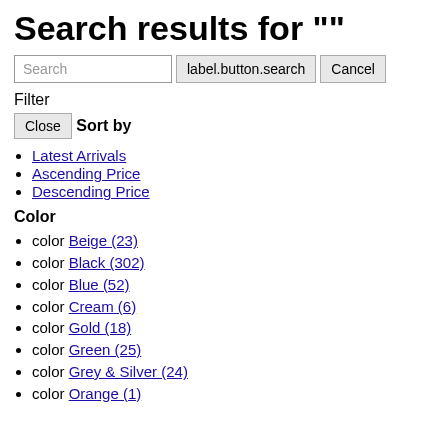Search results for ""
Search | label.button.search | Cancel
Filter
Close
Sort by
Latest Arrivals
Ascending Price
Descending Price
Color
color Beige (23)
color Black (302)
color Blue (52)
color Cream (6)
color Gold (18)
color Green (25)
color Grey & Silver (24)
color Orange (1)